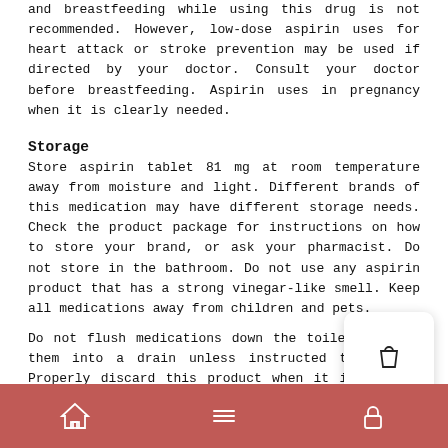and breastfeeding while using this drug is not recommended. However, low-dose aspirin uses for heart attack or stroke prevention may be used if directed by your doctor. Consult your doctor before breastfeeding. Aspirin uses in pregnancy when it is clearly needed.
Storage
Store aspirin tablet 81 mg at room temperature away from moisture and light. Different brands of this medication may have different storage needs. Check the product package for instructions on how to store your brand, or ask your pharmacist. Do not store in the bathroom. Do not use any aspirin product that has a strong vinegar-like smell. Keep all medications away from children and pets.
Do not flush medications down the toilet or pour them into a drain unless instructed to do so. Properly discard this product when it is expired or no longer needed. Consult your pharmacist or local waste disposal company.
[navigation bar with home, menu, and lock icons]